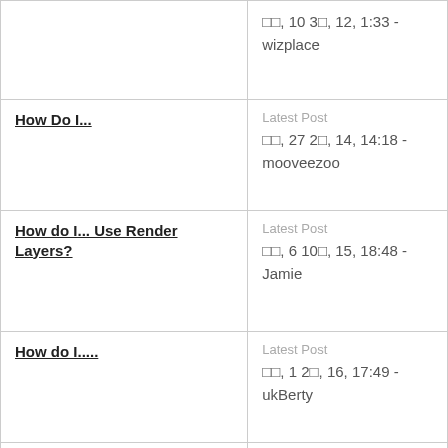| Topic | Latest Post |
| --- | --- |
|  | □□, 10 3□, 12, 1:33 - wizplace |
| How Do I... | □□, 27 2□, 14, 14:18 - mooveezoo |
| How do I... Use Render Layers? | □□, 6 10□, 15, 18:48 - Jamie |
| How do I..... | □□, 1 2□, 16, 17:49 - ukBerty |
| How do u put together a tga sequence | □□, 23 11□, 13, 10:04 - kutye |
| How do we save attachments? | Latest Post |